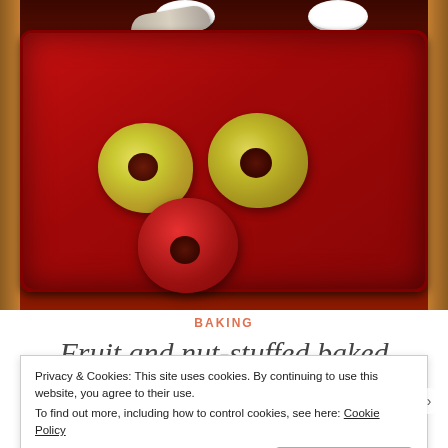[Figure (photo): Top-down photo of three cored apples in a red scalloped baking dish, with white bowls and a spoon visible at the top, set on a wooden surface]
BAKING
Fruit and nut-stuffed baked
Privacy & Cookies: This site uses cookies. By continuing to use this website, you agree to their use.
To find out more, including how to control cookies, see here: Cookie Policy
Close and accept